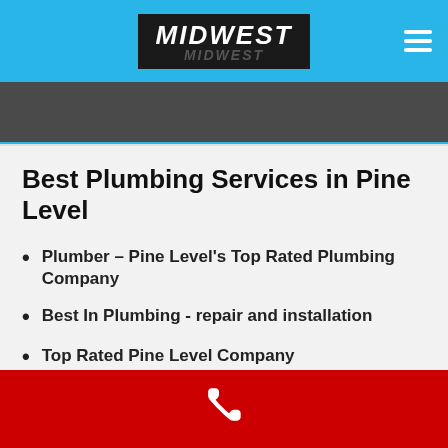MIDWEST
Best Plumbing Services in Pine Level
Plumber – Pine Level's Top Rated Plumbing Company
Best In Plumbing - repair and installation
Top Rated Pine Level Company
[Figure (illustration): Red footer bar with white phone icon]